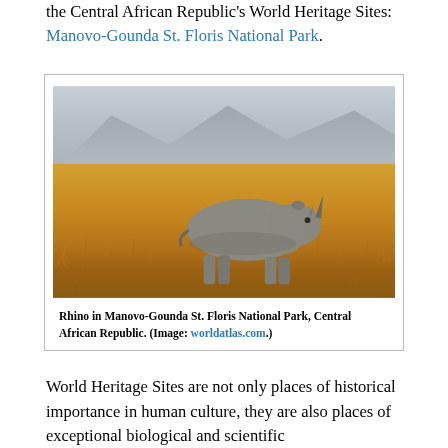the Central African Republic's World Heritage Sites: Manovo-Gounda St. Floris National Park.
[Figure (photo): A rhinoceros standing in golden grassland savanna with hazy mountains in the background, representing wildlife in Manovo-Gounda St. Floris National Park, Central African Republic.]
Rhino in Manovo-Gounda St. Floris National Park, Central African Republic. (Image: worldatlas.com.)
World Heritage Sites are not only places of historical importance in human culture, they are also places of exceptional biological and scientific